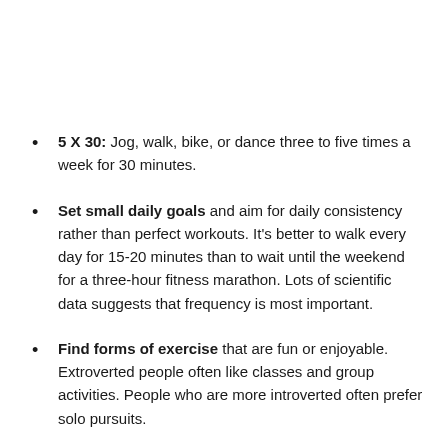5 X 30: Jog, walk, bike, or dance three to five times a week for 30 minutes.
Set small daily goals and aim for daily consistency rather than perfect workouts. It's better to walk every day for 15-20 minutes than to wait until the weekend for a three-hour fitness marathon. Lots of scientific data suggests that frequency is most important.
Find forms of exercise that are fun or enjoyable. Extroverted people often like classes and group activities. People who are more introverted often prefer solo pursuits.